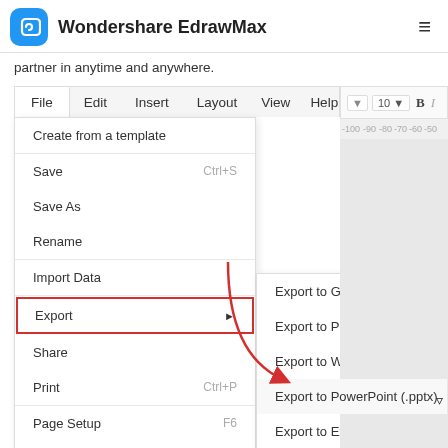Wondershare EdrawMax
partner in anytime and anywhere.
[Figure (screenshot): Wondershare EdrawMax application screenshot showing the File menu open with Export submenu expanded. The Export menu item is highlighted with a red border. A red arrow points from the Export item down to 'Export to PowerPoint (.pptx)' in the submenu. The submenu shows: Export to Graphics, Export to PDF, Export to Word (.docx), Export to PowerPoint (.pptx), Export to Excel (.xlsx). The main File menu shows: Create from a template, Save (Ctrl+S), Save As, Rename, Import Data, Export (with submenu arrow), Share, Print (Ctrl+P), Page Setup (F6), User Preference.]